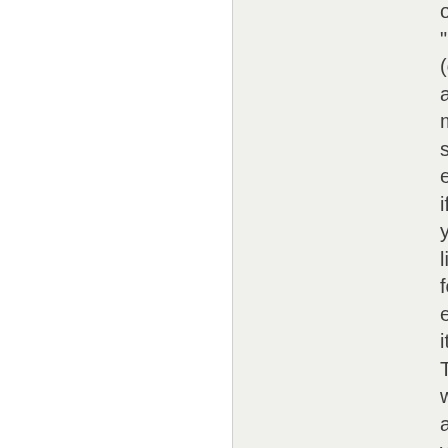or "No (or a more specific expression, if you like) for each item. This will allow you to connect with your opponent and fellow